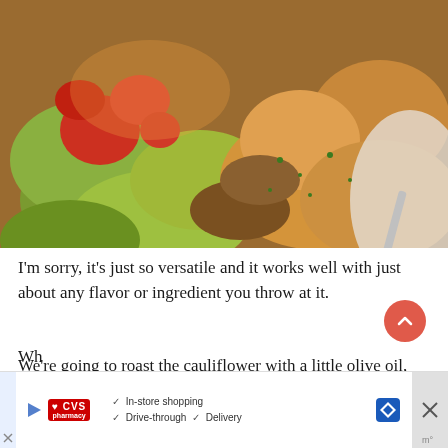[Figure (photo): Close-up photo of a bowl of Mexican-style food with guacamole, salsa, ground meat, potatoes, and herbs]
I'm sorry, it's just so versatile and it works well with just about any flavor or ingredient you throw at it.
We're going to roast the cauliflower with a little olive oil, paprika, cumin, and salt.
[Figure (screenshot): CVS Pharmacy advertisement banner showing In-store shopping, Drive-through, and Delivery options with a navigation icon]